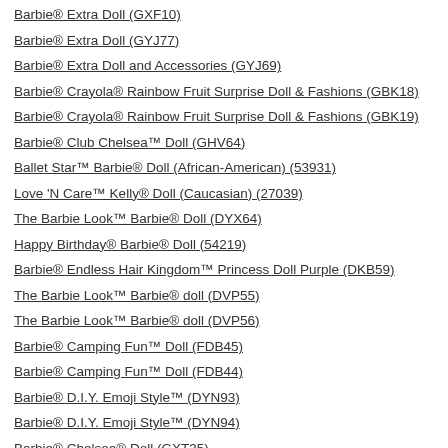Barbie® Extra Doll (GXF10)
Barbie® Extra Doll (GYJ77)
Barbie® Extra Doll and Accessories (GYJ69)
Barbie® Crayola® Rainbow Fruit Surprise Doll & Fashions (GBK18)
Barbie® Crayola® Rainbow Fruit Surprise Doll & Fashions (GBK19)
Barbie® Club Chelsea™ Doll (GHV64)
Ballet Star™ Barbie® Doll (African-American) (53931)
Love 'N Care™ Kelly® Doll (Caucasian) (27039)
The Barbie Look™ Barbie® Doll (DYX64)
Happy Birthday® Barbie® Doll (54219)
Barbie® Endless Hair Kingdom™ Princess Doll Purple (DKB59)
The Barbie Look™ Barbie® doll (DVP55)
The Barbie Look™ Barbie® doll (DVP56)
Barbie® Camping Fun™ Doll (FDB45)
Barbie® Camping Fun™ Doll (FDB44)
Barbie® D.I.Y. Emoji Style™ (DYN93)
Barbie® D.I.Y. Emoji Style™ (DYN94)
Barbie® Chelsea® Doll (GXT35)